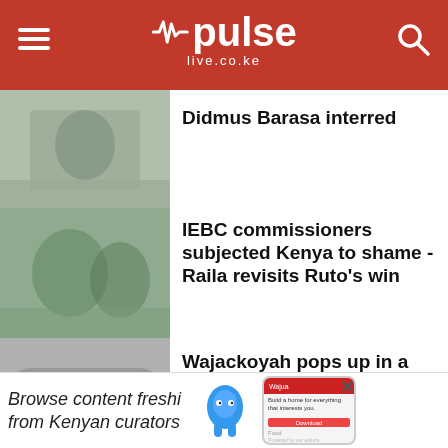pulse live.co.ke
Didmus Barasa interred
IEBC commissioners subjected Kenya to shame - Raila revisits Ruto's win
Wajackoyah pops up in a Sh12M German machine
Inside Kenya Kwanza's plans [for government]
[Figure (other): Ad banner: Browse content freshi from Kenyan curators]